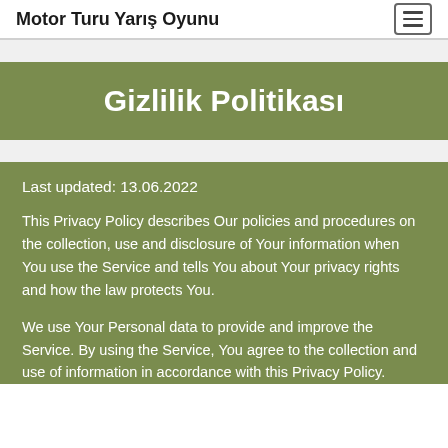Motor Turu Yarış Oyunu
Gizlilik Politikası
Last updated: 13.06.2022
This Privacy Policy describes Our policies and procedures on the collection, use and disclosure of Your information when You use the Service and tells You about Your privacy rights and how the law protects You.
We use Your Personal data to provide and improve the Service. By using the Service, You agree to the collection and use of information in accordance with this Privacy Policy.